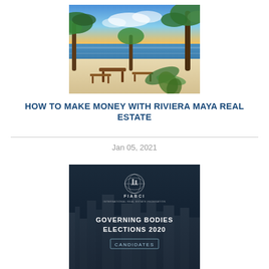[Figure (photo): Beach scene with palm trees, white sand, wooden furniture, and tropical ocean view at sunset]
HOW TO MAKE MONEY WITH RIVIERA MAYA REAL ESTATE
Jan 05, 2021
[Figure (photo): FIABCI Governing Bodies Elections 2020 Candidates - dark blue banner with FIABCI logo and city skyline background]